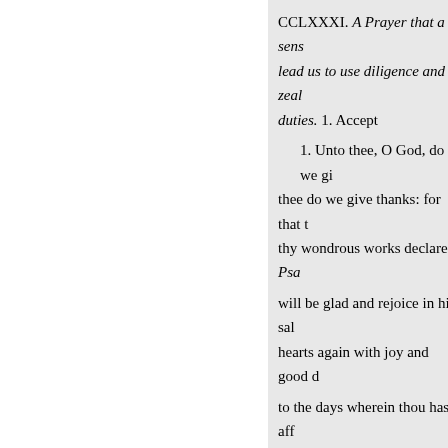CCLXXXI. A Prayer that a sens lead us to use diligence and zeal duties. 1. Accept
1. Unto thee, O God, do we gi thee do we give thanks: for that t thy wondrous works declare. Psa will be glad and rejoice in his sal hearts again with joy and good d to the days wherein thou hast aff wherein we have seen evil. Psal. hath put a new song in my mouth mouths, by came with a perfect h they were with King Wil
David three days, eating and d they the Deliver that were nigh th bread on asses, and on Nation fro cakes of figs, and bunches of rais oil, and oxen, and sheep abundan